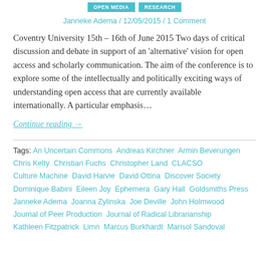OPEN MEDIA   RESEARCH
Janneke Adema / 12/05/2015 / 1 Comment
Coventry University 15th – 16th of June 2015 Two days of critical discussion and debate in support of an 'alternative' vision for open access and scholarly communication. The aim of the conference is to explore some of the intellectually and politically exciting ways of understanding open access that are currently available internationally. A particular emphasis…
Continue reading →
Tags: An Uncertain Commons  Andreas Kirchner  Armin Beverungen  Chris Kelty  Christian Fuchs  Christopher Land  CLACSO  Culture Machine  David Harvie  David Ottina  Discover Society  Dominique Babini  Eileen Joy  Ephemera  Gary Hall  Goldsmiths Press  Janneke Adema  Joanna Zylinska  Joe Deville  John Holmwood  Journal of Peer Production  Journal of Radical Librarianship  Kathleen Fitzpatrick  Limn  Marcus Burkhardt  Marisol Sandoval